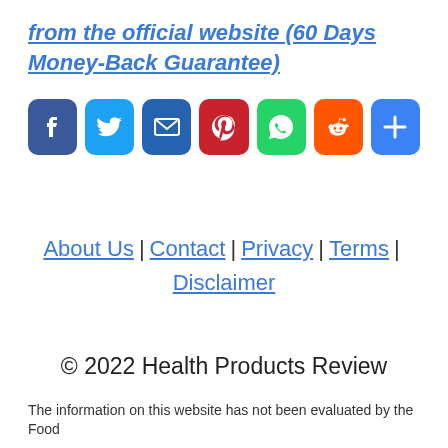from the official website (60 Days Money-Back Guarantee)
[Figure (other): Social media share buttons: Facebook, Twitter, Email, Pinterest, WhatsApp, Reddit, More]
About Us | Contact | Privacy | Terms | Disclaimer
© 2022 Health Products Review
The information on this website has not been evaluated by the Food